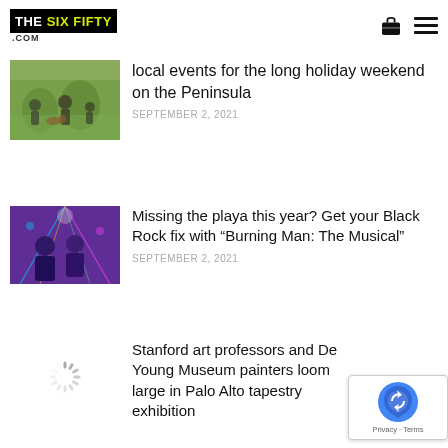THE SIX FIFTY .COM
[Figure (photo): Outdoor scene with people on grass, partial view of article thumbnail]
local events for the long holiday weekend on the Peninsula
SEPTEMBER 2, 2021
[Figure (photo): Two people in colorful/neon lighting, Burning Man themed image]
Missing the playa this year? Get your Black Rock fix with “Burning Man: The Musical”
SEPTEMBER 2, 2021
[Figure (photo): Loading spinner placeholder for third article image]
Stanford art professors and De Young Museum painters loom large in Palo Alto tapestry exhibition